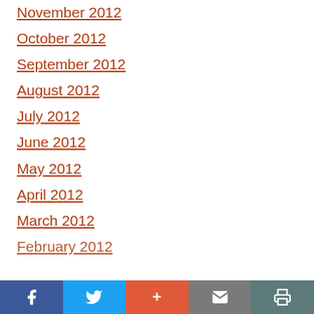November 2012
October 2012
September 2012
August 2012
July 2012
June 2012
May 2012
April 2012
March 2012
February 2012